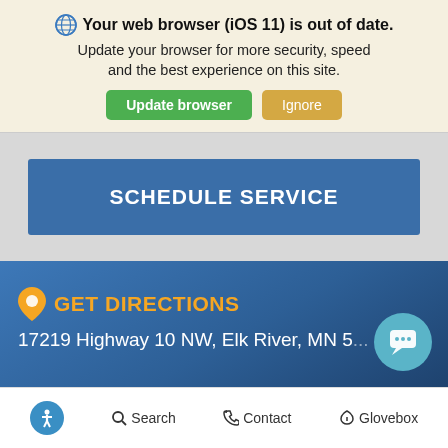Your web browser (iOS 11) is out of date. Update your browser for more security, speed and the best experience on this site.
Update browser | Ignore
SCHEDULE SERVICE
GET DIRECTIONS
17219 Highway 10 NW, Elk River, MN 5...
Search  Contact  Glovebox